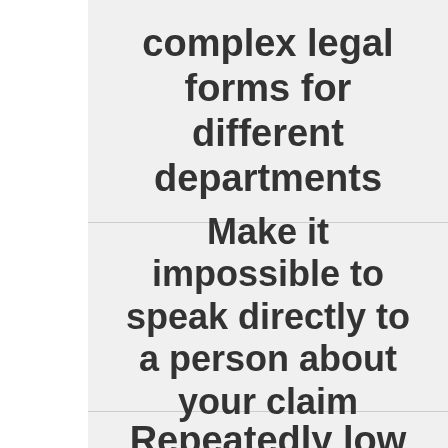complex legal forms for different departments
Make it impossible to speak directly to a person about your claim
Repeatedly low